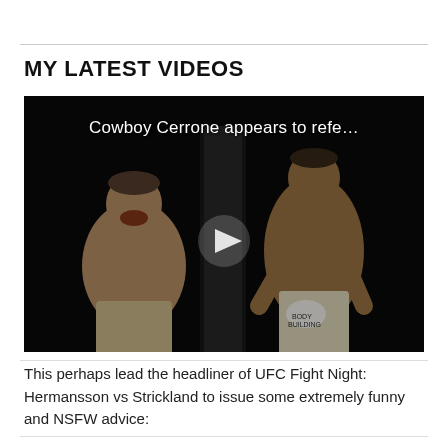MY LATEST VIDEOS
[Figure (screenshot): Video thumbnail showing two shirtless fighters in a dark room with play button overlay. Text overlay reads: 'Cowboy Cerrone appears to refe...']
This perhaps lead the headliner of UFC Fight Night: Hermansson vs Strickland to issue some extremely funny and NSFW advice: